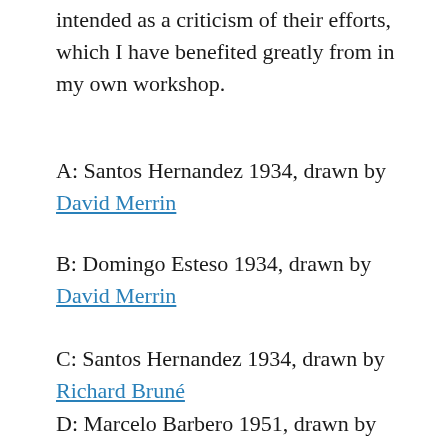intended as a criticism of their efforts, which I have benefited greatly from in my own workshop.
A: Santos Hernandez 1934, drawn by David Merrin
B: Domingo Esteso 1934, drawn by David Merrin
C: Santos Hernandez 1934, drawn by Richard Bruné
D: Marcelo Barbero 1951, drawn by Richard Bruné
E: Santos Hernandez 1933, drawn by Roy